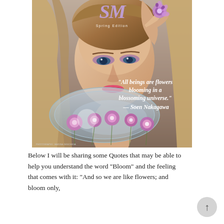[Figure (photo): Magazine cover with 'SM Spring Edition' logo in purple at top. A young woman with long brown hair, purple eye makeup, and pink lips holds a purple flower near her forehead. She rests her chin near a round glass bowl filled with purple flowers. Quote overlay in white italic text reads: '"All beings are flowers blooming in a blossoming universe." — Soen Nakagawa'. Small photo credit at bottom left.]
Below I will be sharing some Quotes that may be able to help you understand the word "Bloom" and the feeling that comes with it: "And so we are like flowers; and bloom only,